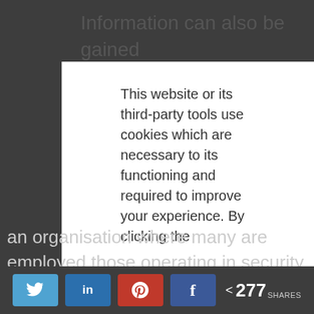Information can also be gained from...
This website or its third-party tools use cookies which are necessary to its functioning and required to improve your experience. By clicking the
an organisation where many are employed those operating in security have at times, a tendency to be last on the ‘dissemination list’. With this information, a plan can then be formed. The TL must
[Figure (screenshot): Social sharing bar with Twitter, LinkedIn, Pinterest, Facebook buttons and share count of 277]